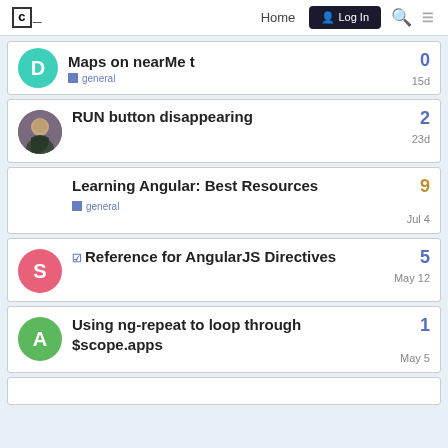Codecademy Forums — Home | Log In
Maps on nearMe | general | 0 | 15d
RUN button disappearing | 2 | 23d
Learning Angular: Best Resources | general | 9 | Jul 4
Reference for AngularJS Directives | 5 | May 12
Using ng-repeat to loop through $scope.apps | 1 | May 5